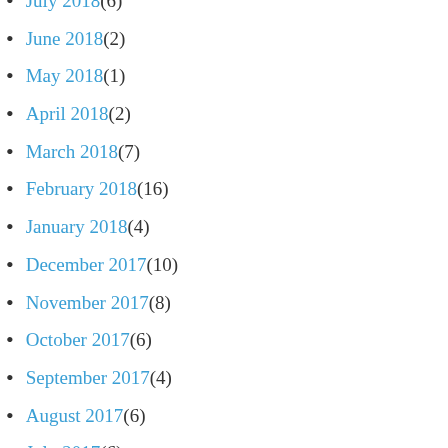July 2018 (6)
June 2018 (2)
May 2018 (1)
April 2018 (2)
March 2018 (7)
February 2018 (16)
January 2018 (4)
December 2017 (10)
November 2017 (8)
October 2017 (6)
September 2017 (4)
August 2017 (6)
July 2017 (6)
June 2017 (3)
May 2017 (4)
March 2017 (1)
February 2017 (2)